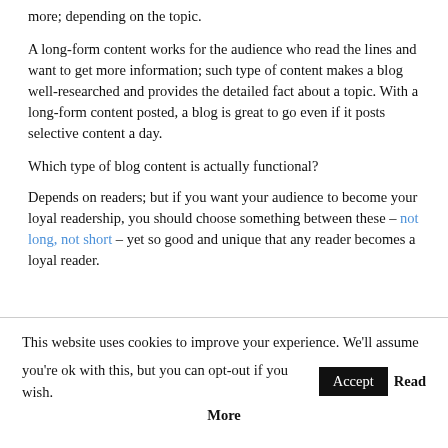more; depending on the topic.
A long-form content works for the audience who read the lines and want to get more information; such type of content makes a blog well-researched and provides the detailed fact about a topic. With a long-form content posted, a blog is great to go even if it posts selective content a day.
Which type of blog content is actually functional?
Depends on readers; but if you want your audience to become your loyal readership, you should choose something between these – not long, not short – yet so good and unique that any reader becomes a loyal reader.
This website uses cookies to improve your experience. We'll assume you're ok with this, but you can opt-out if you wish. Accept Read More